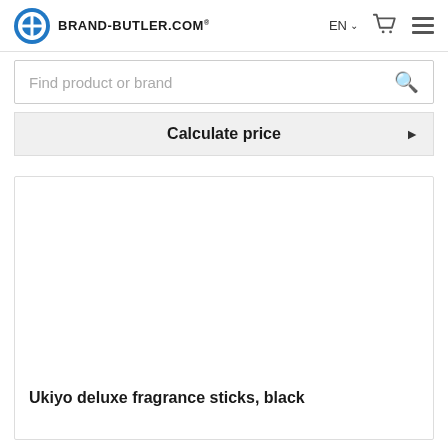BRAND-BUTLER.COM
Find product or brand
Calculate price
Ukiyo deluxe fragrance sticks, black